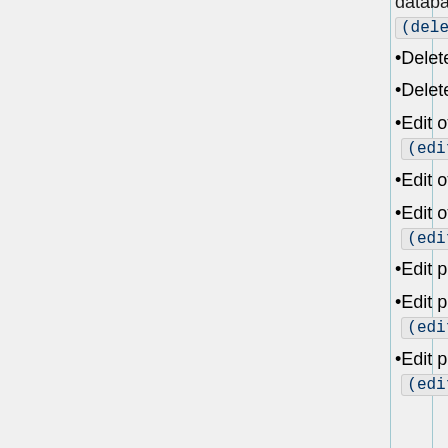database (deletechangetag)
Delete pages (delete)
Delete pages with large histories (bigdelete)
Edit other users' CSS files (editusercss)
Edit other users' JSON files (edituserjson)
Edit other users' JavaScript files (edituserjs)
Edit pages (edit)
Edit pages protected as "Allow only administrators" (editprotected)
Edit pages protected as "Allow only autoconfirmed users" (editsemiprotected)